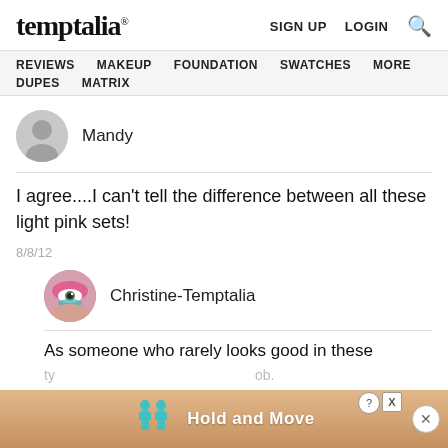temptalia® | SIGN UP  LOGIN  🔍
REVIEWS  MAKEUP  FOUNDATION  SWATCHES  MORE  DUPES  MATRIX
Mandy
I agree....I can't tell the difference between all these light pink sets!
8/8/12
Christine-Temptalia
As someone who rarely looks good in these
[Figure (infographic): Ad overlay with cartoon figures and text 'Hold and Move', with close buttons]